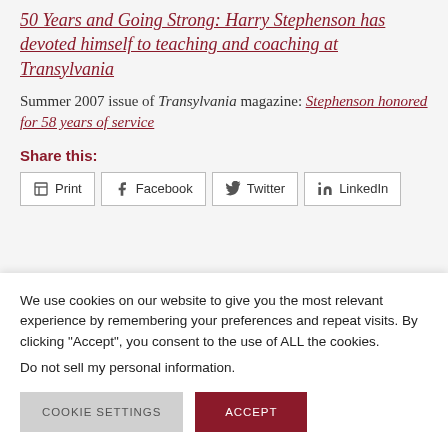50 Years and Going Strong: Harry Stephenson has devoted himself to teaching and coaching at Transylvania
Summer 2007 issue of Transylvania magazine: Stephenson honored for 58 years of service
Share this:
Print  Facebook  Twitter  LinkedIn
We use cookies on our website to give you the most relevant experience by remembering your preferences and repeat visits. By clicking “Accept”, you consent to the use of ALL the cookies.
Do not sell my personal information.
COOKIE SETTINGS   ACCEPT